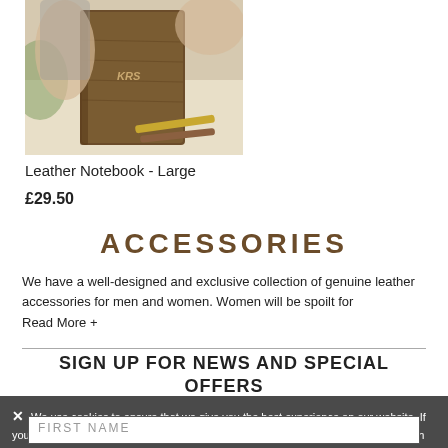[Figure (photo): Hands holding a brown leather notebook on a table, with pencils visible]
Leather Notebook - Large
£29.50
ACCESSORIES
We have a well-designed and exclusive collection of genuine leather accessories for men and women. Women will be spoilt for
Read More +
SIGN UP FOR NEWS AND SPECIAL OFFERS
We use cookies to ensure that we give you the best experience on our website. If you continue without changing your settings, we'll assume that you are on board with our cookie policy however, if you would like to, you can change your cookie settings at any time.
FIRST NAME